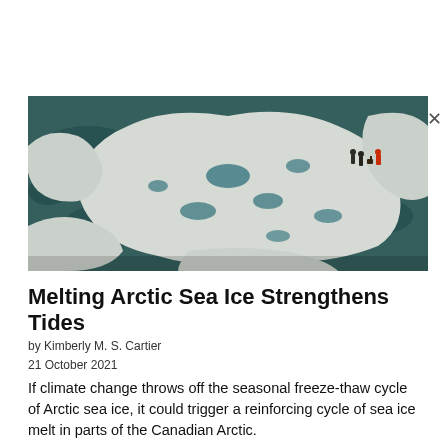[Figure (photo): Aerial view of Arctic sea ice with melt ponds forming dark blue pools between white ice floes. Several people in dark and red outerwear are visible standing on the ice in the upper right portion of the image.]
Melting Arctic Sea Ice Strengthens Tides
by Kimberly M. S. Cartier
21 October 2021
If climate change throws off the seasonal freeze-thaw cycle of Arctic sea ice, it could trigger a reinforcing cycle of sea ice melt in parts of the Canadian Arctic.